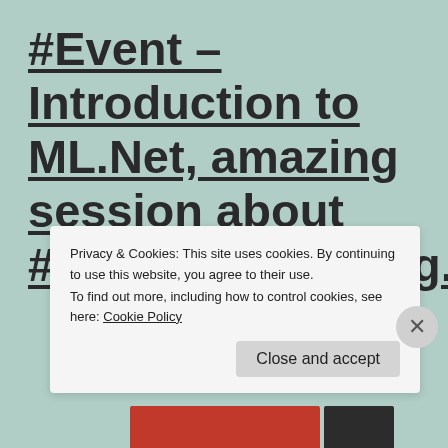#Event – Introduction to ML.Net, amazing session about #MachineLearning.Net
Hi! Quick post on Friday, and a quick reference
Privacy & Cookies: This site uses cookies. By continuing to use this website, you agree to their use.
To find out more, including how to control cookies, see here: Cookie Policy
Close and accept